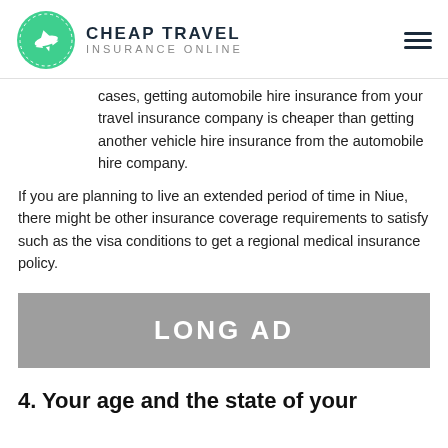CHEAP TRAVEL INSURANCE ONLINE
cases, getting automobile hire insurance from your travel insurance company is cheaper than getting another vehicle hire insurance from the automobile hire company.
If you are planning to live an extended period of time in Niue, there might be other insurance coverage requirements to satisfy such as the visa conditions to get a regional medical insurance policy.
[Figure (other): Grey advertisement banner with white text reading LONG AD]
4. Your age and the state of your